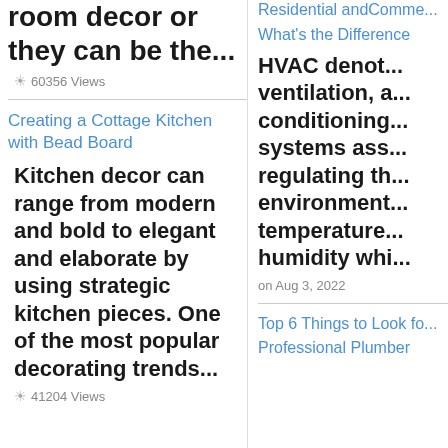room decor or they can be the...
60356 Views
Creating a Cottage Kitchen with Bead Board
Kitchen decor can range from modern and bold to elegant and elaborate by using strategic kitchen pieces. One of the most popular decorating trends...
41204 Views
Residential andComme... What's the Difference
HVAC denot... ventilation, a... conditioning... systems ass... regulating th... environment... temperature... humidity whi...
on Aug 3, 2022
Top 6 Things to Look fo... Professional Plumber